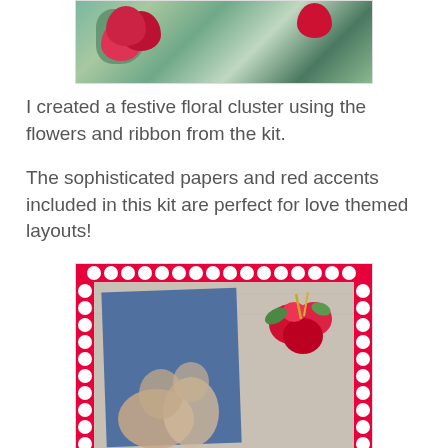[Figure (photo): Close-up of a festive floral cluster with red flowers and green ribbon/foliage, partially cropped at top]
I created a festive floral cluster using the flowers and ribbon from the kit.
The sophisticated papers and red accents included in this kit are perfect for love themed layouts!
[Figure (photo): A scrapbook layout featuring a couple photo mounted on patterned silver/grey paper with a decorative red lace border and red floral cluster accent in the upper right corner]